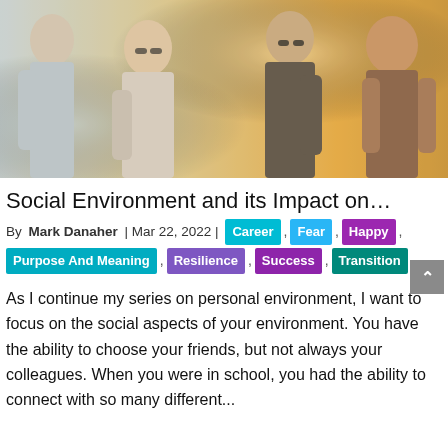[Figure (photo): Group of young adults socializing outdoors in sunlight, wearing sunglasses, smiling and laughing together.]
Social Environment and its Impact on…
By  Mark Danaher  | Mar 22, 2022 |  Career ,  Fear ,  Happy ,  Purpose And Meaning ,  Resilience ,  Success ,  Transition
As I continue my series on personal environment, I want to focus on the social aspects of your environment. You have the ability to choose your friends, but not always your colleagues. When you were in school, you had the ability to connect with so many different...